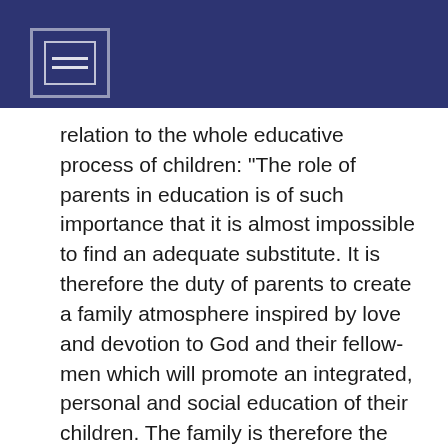relation to the whole educative process of children: "The role of parents in education is of such importance that it is almost impossible to find an adequate substitute. It is therefore the duty of parents to create a family atmosphere inspired by love and devotion to God and their fellow-men which will promote an integrated, personal and social education of their children. The family is therefore the principal school of the social virtues which are necessary to every society". In fact education is the parents' domain insofar as their educational task continues the generation of life; moreover, it is an offering of their humanity to their children to which they are solemnly bound in the very moment of celebrating their